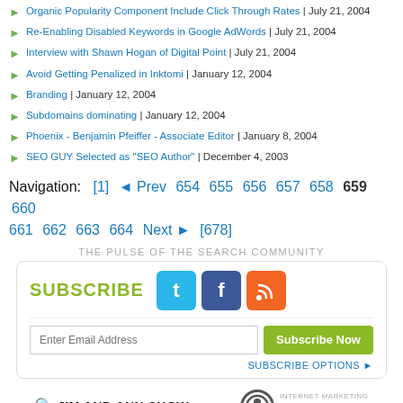Organic Popularity Component Include Click Through Rates | July 21, 2004
Re-Enabling Disabled Keywords in Google AdWords | July 21, 2004
Interview with Shawn Hogan of Digital Point | July 21, 2004
Avoid Getting Penalized in Inktomi | January 12, 2004
Branding | January 12, 2004
Subdomains dominating | January 12, 2004
Phoenix - Benjamin Pfeiffer - Associate Editor | January 8, 2004
SEO GUY Selected as "SEO Author" | December 4, 2003
Navigation: [1] ◄ Prev 654 655 656 657 658 659 660 661 662 663 664 Next ► [678]
THE PULSE OF THE SEARCH COMMUNITY
[Figure (infographic): Subscribe box with social icons (Twitter, Facebook, RSS), email input field, Subscribe Now button, and SUBSCRIBE OPTIONS link]
[Figure (logo): Jim and Ann Show logo and Internet Marketing Ninjas logo]